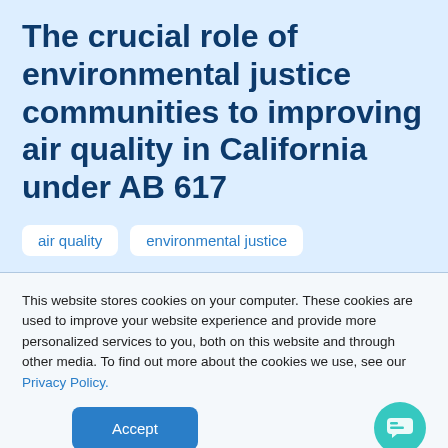The crucial role of environmental justice communities to improving air quality in California under AB 617
air quality
environmental justice
This website stores cookies on your computer. These cookies are used to improve your website experience and provide more personalized services to you, both on this website and through other media. To find out more about the cookies we use, see our Privacy Policy.
Accept